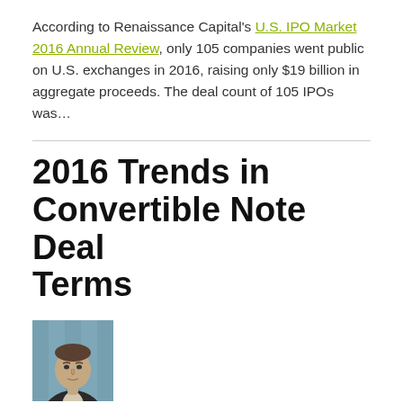According to Renaissance Capital's U.S. IPO Market 2016 Annual Review, only 105 companies went public on U.S. exchanges in 2016, raising only $19 billion in aggregate proceeds. The deal count of 105 IPOs was...
2016 Trends in Convertible Note Deal Terms
[Figure (photo): Headshot of a man in a dark suit with a light blue background]
By Alon Y. Kapen on April 3, 2016
POSTED IN CAPITAL RAISING, CONVERTIBLE, EQUITY, EXIT